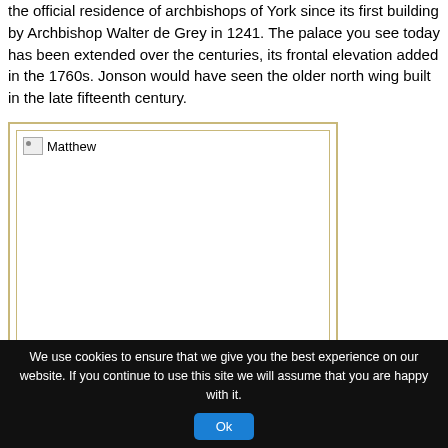the official residence of archbishops of York since its first building by Archbishop Walter de Grey in 1241. The palace you see today has been extended over the centuries, its frontal elevation added in the 1760s. Jonson would have seen the older north wing built in the late fifteenth century.
[Figure (photo): A framed image placeholder labeled 'Matthew' with a broken image icon, surrounded by a double border with tan/gold coloring.]
We use cookies to ensure that we give you the best experience on our website. If you continue to use this site we will assume that you are happy with it.